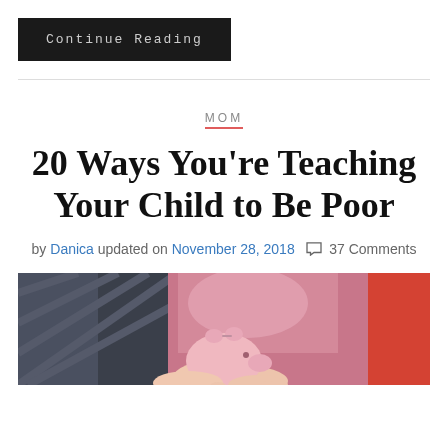Continue Reading
20 Ways You're Teaching Your Child to Be Poor
by Danica updated on November 28, 2018  37 Comments
[Figure (photo): A pink piggy bank being held by a child's hands, with blurred background showing fabric and clothing.]